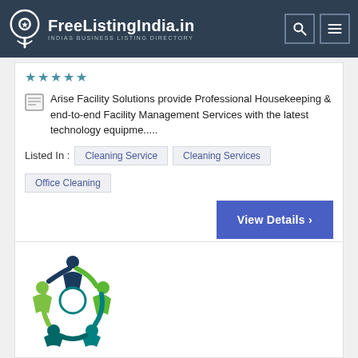FreeListingIndia.in — INDIAS BUSINESS LISTING DIRECTORY
Arise Facility Solutions provide Professional Housekeeping & end-to-end Facility Management Services with the latest technology equipme.....
Listed In : Cleaning Service | Cleaning Services | Office Cleaning
View Details >
[Figure (logo): Circular logo with people figures in green, teal, and dark blue holding hands in a circle, representing teamwork or staffing company]